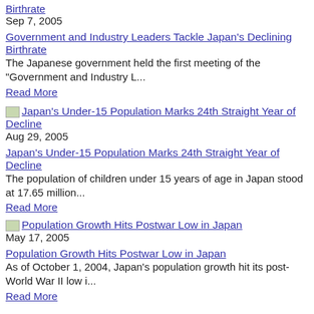Birthrate
Sep 7, 2005
Government and Industry Leaders Tackle Japan's Declining Birthrate
The Japanese government held the first meeting of the "Government and Industry L...
Read More
[Figure (illustration): Thumbnail image link for Japan's Under-15 Population Marks 24th Straight Year of Decline article]
Aug 29, 2005
Japan's Under-15 Population Marks 24th Straight Year of Decline
The population of children under 15 years of age in Japan stood at 17.65 million...
Read More
[Figure (illustration): Thumbnail image link for Population Growth Hits Postwar Low in Japan article]
May 17, 2005
Population Growth Hits Postwar Low in Japan
As of October 1, 2004, Japan's population growth hit its post-World War II low i...
Read More